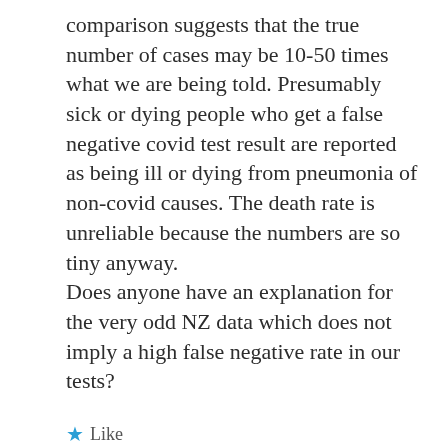comparison suggests that the true number of cases may be 10-50 times what we are being told. Presumably sick or dying people who get a false negative covid test result are reported as being ill or dying from pneumonia of non-covid causes. The death rate is unreliable because the numbers are so tiny anyway.
Does anyone have an explanation for the very odd NZ data which does not imply a high false negative rate in our tests?
★ Like
Reply